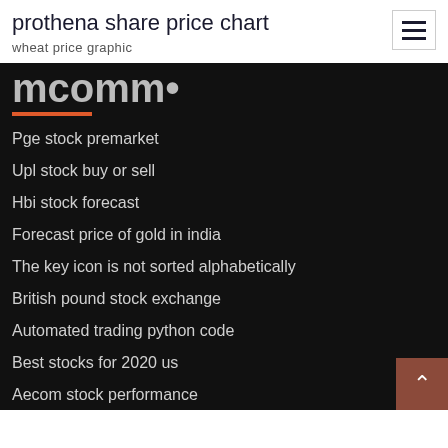prothena share price chart
wheat price graphic
Pge stock premarket
Upl stock buy or sell
Hbi stock forecast
Forecast price of gold in india
The key icon is not sorted alphabetically
British pound stock exchange
Automated trading python code
Best stocks for 2020 us
Aecom stock performance